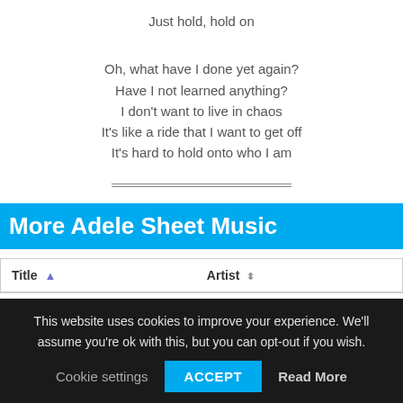Just hold, hold on
Oh, what have I done yet again?
Have I not learned anything?
I don't want to live in chaos
It's like a ride that I want to get off
It's hard to hold onto who I am
More Adele Sheet Music
| Title | Artist |
| --- | --- |
This website uses cookies to improve your experience. We'll assume you're ok with this, but you can opt-out if you wish.